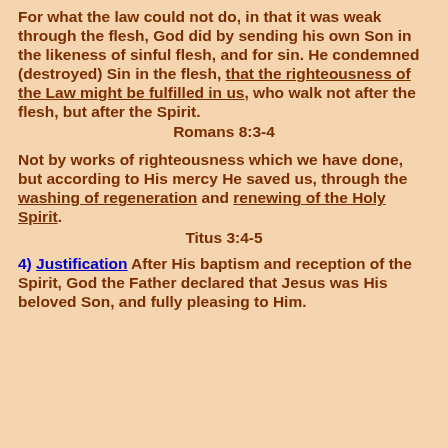For what the law could not do, in that it was weak through the flesh, God did by sending his own Son in the likeness of sinful flesh, and for sin. He condemned (destroyed) Sin in the flesh, that the righteousness of the Law might be fulfilled in us, who walk not after the flesh, but after the Spirit.
Romans 8:3-4
Not by works of righteousness which we have done, but according to His mercy He saved us, through the washing of regeneration and renewing of the Holy Spirit.
Titus 3:4-5
4) Justification  After His baptism and reception of the Spirit, God the Father declared that Jesus was His beloved Son, and fully pleasing to Him.